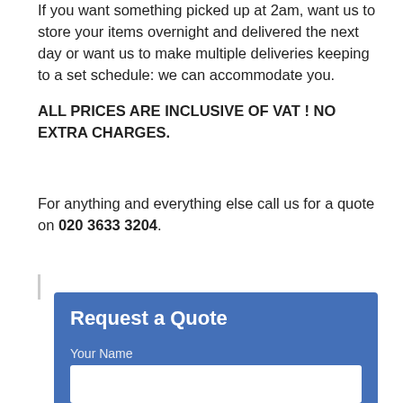If you want something picked up at 2am, want us to store your items overnight and delivered the next day or want us to make multiple deliveries keeping to a set schedule: we can accommodate you.
ALL PRICES ARE INCLUSIVE OF VAT ! NO EXTRA CHARGES.
For anything and everything else call us for a quote on 020 3633 3204.
[Figure (other): Request a Quote web form with fields for Your Name, Your Email, and Phone Number on a blue background]